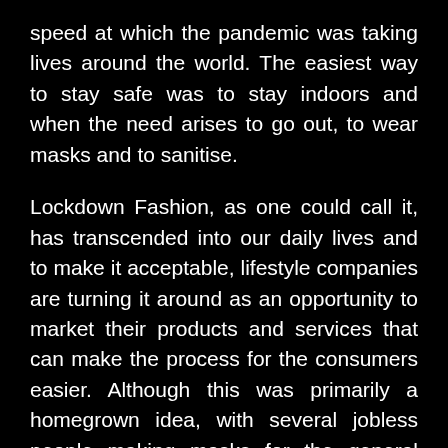speed at which the pandemic was taking lives around the world. The easiest way to stay safe was to stay indoors and when the need arises to go out, to wear masks and to sanitise.
Lockdown Fashion, as one could call it, has transcended into our daily lives and to make it acceptable, lifestyle companies are turning it around as an opportunity to market their products and services that can make the process for the consumers easier. Although this was primarily a homegrown idea, with several jobless people making masks for the general public while being quarantined at home, businesses around the world picked up this trend rapidly.